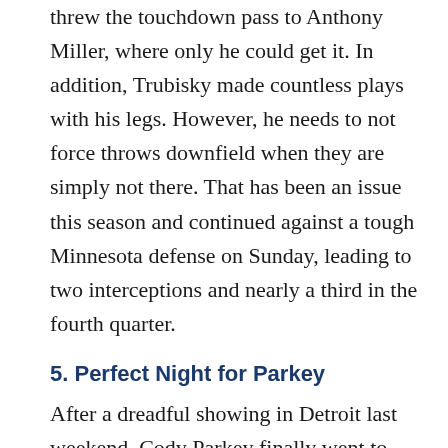threw the touchdown pass to Anthony Miller, where only he could get it. In addition, Trubisky made countless plays with his legs. However, he needs to not force throws downfield when they are simply not there. That has been an issue this season and continued against a tough Minnesota defense on Sunday, leading to two interceptions and nearly a third in the fourth quarter.
5. Perfect Night for Parkey
After a dreadful showing in Detroit last weekend, Cody Parkey finally went to Soldier Field and practiced kicking field goals during the week, and this led to major success on Sunday. Parkey went three for three, including a career-long field goal...